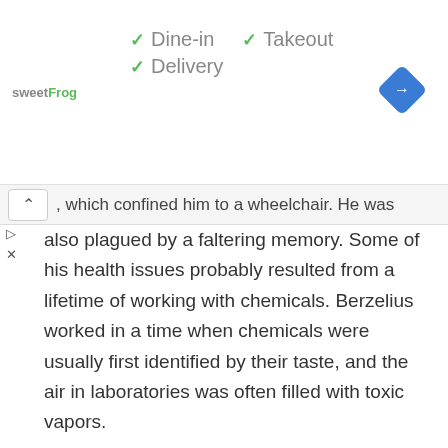[Figure (screenshot): Ad banner for sweetFrog showing checkmarks for Dine-in, Takeout, Delivery options and a navigation/directions icon]
, which confined him to a wheelchair. He was also plagued by a faltering memory. Some of his health issues probably resulted from a lifetime of working with chemicals. Berzelius worked in a time when chemicals were usually first identified by their taste, and the air in laboratories was often filled with toxic vapors.
Jöns Jacob Berzelius died, age 68, on August 7, 1848 in Stockholm, where he was buried in the Solna cemetery.
He was survived by his wife Elisabeth.